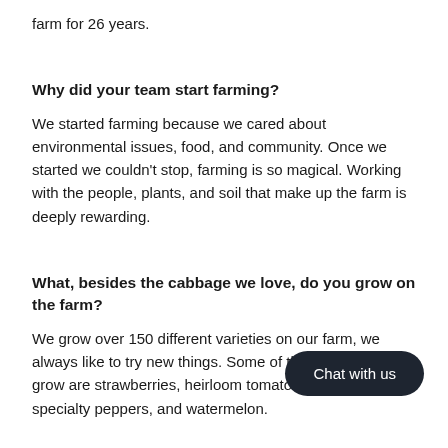farm for 26 years.
Why did your team start farming?
We started farming because we cared about environmental issues, food, and community. Once we started we couldn't stop, farming is so magical. Working with the people, plants, and soil that make up the farm is deeply rewarding.
What, besides the cabbage we love, do you grow on the farm?
We grow over 150 different varieties on our farm, we always like to try new things. Some of the best things we grow are strawberries, heirloom tomatoes, sweet corn, specialty peppers, and watermelon.
Why is organic farming important to you?